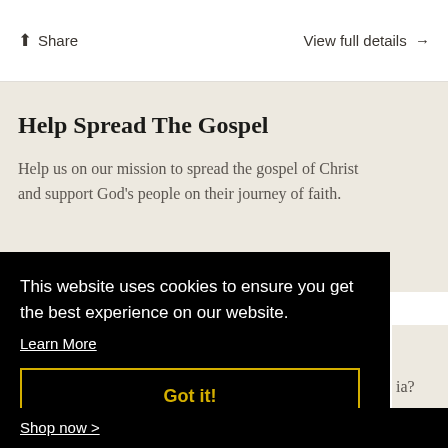↑ Share    View full details →
Help Spread The Gospel
Help us on our mission to spread the gospel of Christ and support God's people on their journey of faith.
This website uses cookies to ensure you get the best experience on our website.
Learn More
Got it!
ia?
Shop now >